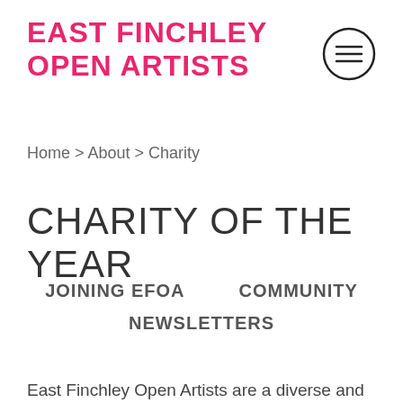EAST FINCHLEY OPEN ARTISTS
Home > About > Charity
CHARITY OF THE YEAR
JOINING EFOA   COMMUNITY
NEWSLETTERS
East Finchley Open Artists are a diverse and